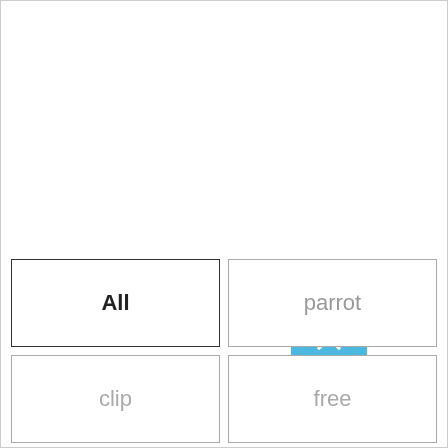[Figure (other): Blue square button with white upward chevron arrow (scroll-to-top button)]
All
parrot
clip
free